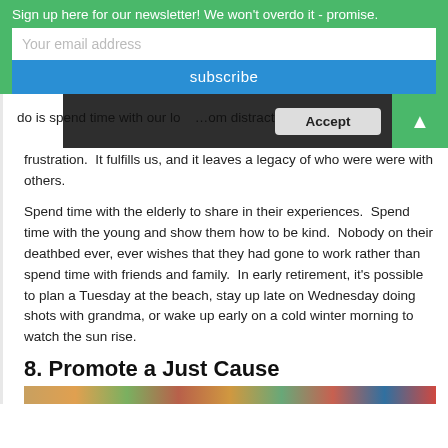Sign up here for our newsletter! We won't overdo it - promise.
Your email address
subscribe
do is spend time with our lo…om distraction frustration.  It fulfills us, and it leaves a legacy of who were were with others.
Spend time with the elderly to share in their experiences.  Spend time with the young and show them how to be kind.  Nobody on their deathbed ever, ever wishes that they had gone to work rather than spend time with friends and family.  In early retirement, it's possible to plan a Tuesday at the beach, stay up late on Wednesday doing shots with grandma, or wake up early on a cold winter morning to watch the sun rise.
8. Promote a Just Cause
[Figure (photo): Colorful image strip at bottom of page]